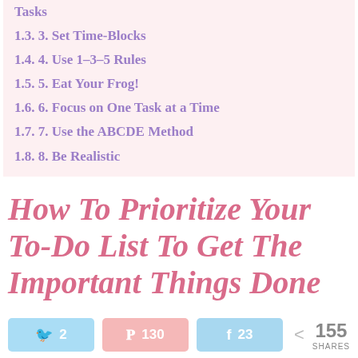1.3. 3. Set Time-Blocks
1.4. 4. Use 1-3-5 Rules
1.5. 5. Eat Your Frog!
1.6. 6. Focus on One Task at a Time
1.7. 7. Use the ABCDE Method
1.8. 8. Be Realistic
How To Prioritize Your To-Do List To Get The Important Things Done
2  130  23  155 SHARES